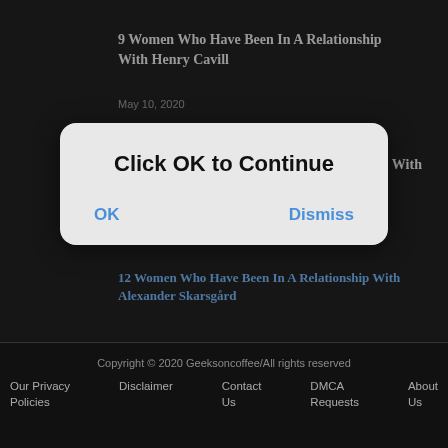9 Women Who Have Been In A Relationship With Henry Cavill
May 10, 2020
14 Women Who Have Been In A Relationship With Chris Evans
12 Women Who Have Been In A Relationship With Alexander Skarsgård
Click OK to Continue
OK
Dismiss
Copyright © 2020 Geeksoncoffee/All rights reserved
Our Privacy Policies
Disclaimer
Contact Us
DMCA Requests
About Us